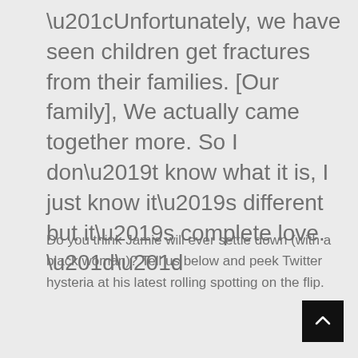“Unfortunately, we have seen children get fractures from their families. [Our family], We actually came together more. So I don’t know what it is, I just know it’s different but it’s complete love. ””
Do you think Jamie will ever settle down (with a black woman)? Tell us below and peek Twitter hysteria at his latest rolling spotting on the flip.